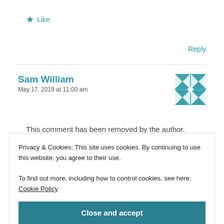★ Like
Reply
Sam William
May 17, 2019 at 11:00 am
[Figure (illustration): Teal and white geometric quilt-pattern avatar icon for Sam William]
This comment has been removed by the author.
★
Privacy & Cookies: This site uses cookies. By continuing to use this website, you agree to their use.
To find out more, including how to control cookies, see here: Cookie Policy
Close and accept